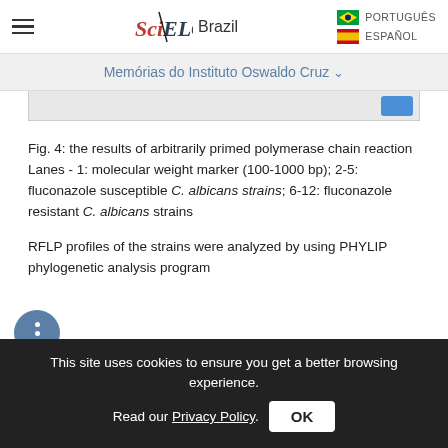SciELO Brazil — PORTUGUÊS / ESPAÑOL
Memórias do Instituto Oswaldo Cruz ∨
Fig. 4: the results of arbitrarily primed polymerase chain reaction Lanes - 1: molecular weight marker (100-1000 bp); 2-5: fluconazole susceptible C. albicans strains; 6-12: fluconazole resistant C. albicans strains
RFLP profiles of the strains were analyzed by using PHYLIP phylogenetic analysis program
This site uses cookies to ensure you get a better browsing experience. Read our Privacy Policy.